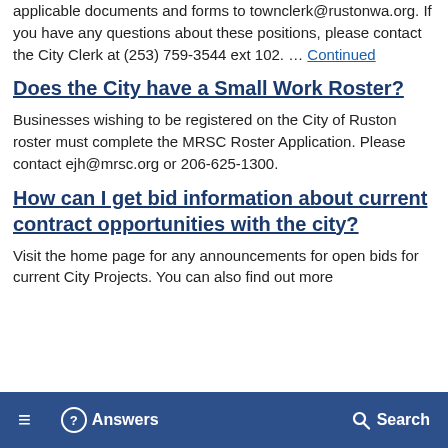applicable documents and forms to townclerk@rustonwa.org. If you have any questions about these positions, please contact the City Clerk at (253) 759-3544 ext 102. … Continued
Does the City have a Small Work Roster?
Businesses wishing to be registered on the City of Ruston roster must complete the MRSC Roster Application. Please contact ejh@mrsc.org or 206-625-1300.
How can I get bid information about current contract opportunities with the city?
Visit the home page for any announcements for open bids for current City Projects. You can also find out more
≡  ? Answers   Search